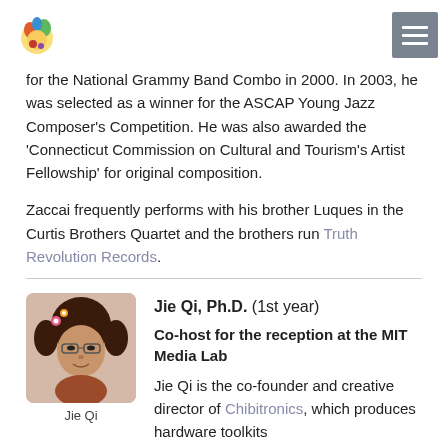[Logo] [Navigation menu icon]
for the National Grammy Band Combo in 2000. In 2003, he was selected as a winner for the ASCAP Young Jazz Composer's Competition. He was also awarded the 'Connecticut Commission on Cultural and Tourism's Artist Fellowship' for original composition.
Zaccai frequently performs with his brother Luques in the Curtis Brothers Quartet and the brothers run Truth Revolution Records.
[Figure (photo): Headshot photo of Jie Qi, a woman wearing glasses]
Jie Qi
Jie Qi, Ph.D. (1st year)
Co-host for the reception at the MIT Media Lab
Jie Qi is the co-founder and creative director of Chibitronics, which produces hardware toolkits for educators, artists and designers that blend paper craft with